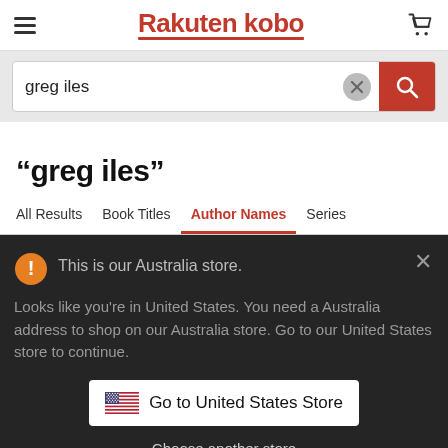[Figure (screenshot): Rakuten Kobo website header with hamburger menu icon, red Rakuten kobo logo, and shopping cart icon]
greg iles
“greg iles”
All Results   Book Titles   Author Names   Series
This is our Australia store.
Looks like you're in United States. You need a Australia address to shop on our Australia store. Go to our United States store to continue.
Go to United States Store
Choose another store